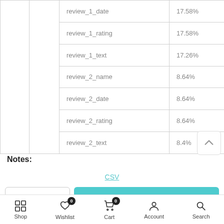|  |  | Field | Percentage |
| --- | --- | --- | --- |
|  |  | review_1_date | 17.58% |
|  |  | review_1_rating | 17.58% |
|  |  | review_1_text | 17.26% |
|  |  | review_2_name | 8.64% |
|  |  | review_2_date | 8.64% |
|  |  | review_2_rating | 8.64% |
|  |  | review_2_text | 8.4% |
Notes:
CSV
- 1 + ADD TO CART
Shop  Wishlist  Cart  Account  Search